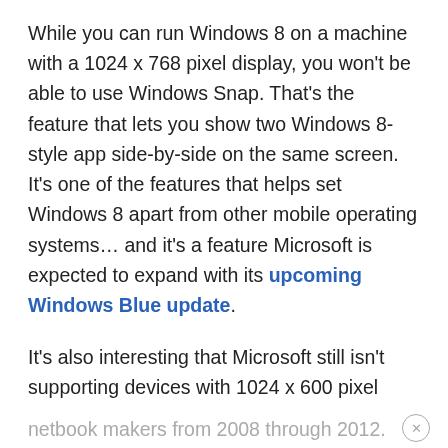While you can run Windows 8 on a machine with a 1024 x 768 pixel display, you won't be able to use Windows Snap. That's the feature that lets you show two Windows 8-style app side-by-side on the same screen. It's one of the features that helps set Windows 8 apart from other mobile operating systems… and it's a feature Microsoft is expected to expand with its upcoming Windows Blue update.
It's also interesting that Microsoft still isn't supporting devices with 1024 x 600 pixel displays. That's the resolution that was used most often by netbook makers from 2008 through 2012.